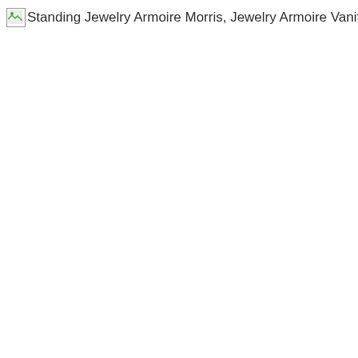[Figure (other): Broken image placeholder with alt text: Standing Jewelry Armoire Morris, Jewelry Armoire Vanity Fair]